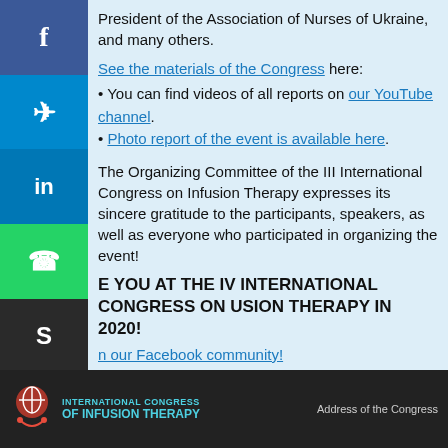President of the Association of Nurses of Ukraine, and many others.
See the materials of the Congress here:
You can find videos of all reports on our YouTube channel.
Photo report of the event is available here.
The Organizing Committee of the III International Congress on Infusion Therapy expresses its sincere gratitude to the participants, speakers, as well as everyone who participated in organizing the event!
SEE YOU AT THE IV INTERNATIONAL CONGRESS ON INFUSION THERAPY IN 2020!
Join our Facebook community!
INTERNATIONAL CONGRESS OF INFUSION THERAPY | Address of the Congress